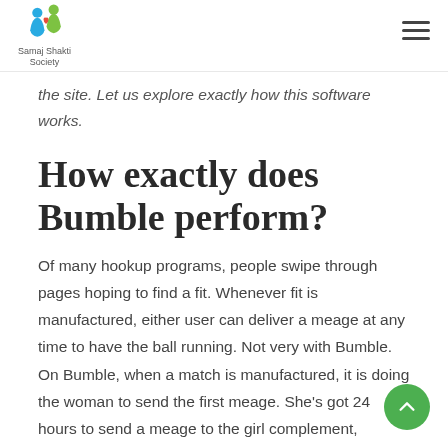Samaj Shakti Society
the site. Let us explore exactly how this software works.
How exactly does Bumble perform?
Of many hookup programs, people swipe through pages hoping to find a fit. Whenever fit is manufactured, either user can deliver a meage at any time to have the ball running. Not very with Bumble. On Bumble, when a match is manufactured, it is doing the woman to send the first meage. She’s got 24 hours to send a meage to the girl complement, otherwise they